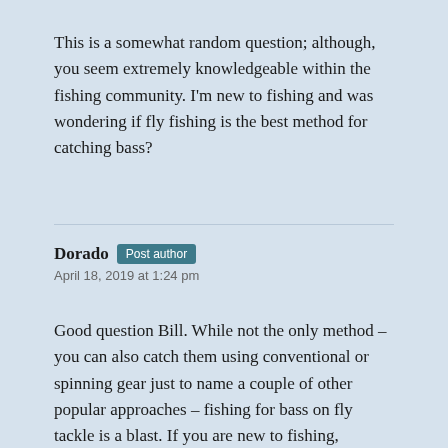This is a somewhat random question; although, you seem extremely knowledgeable within the fishing community. I'm new to fishing and was wondering if fly fishing is the best method for catching bass?
Dorado Post author
April 18, 2019 at 1:24 pm
Good question Bill. While not the only method – you can also catch them using conventional or spinning gear just to name a couple of other popular approaches – fishing for bass on fly tackle is a blast. If you are new to fishing, however, the other two methods referred to here are